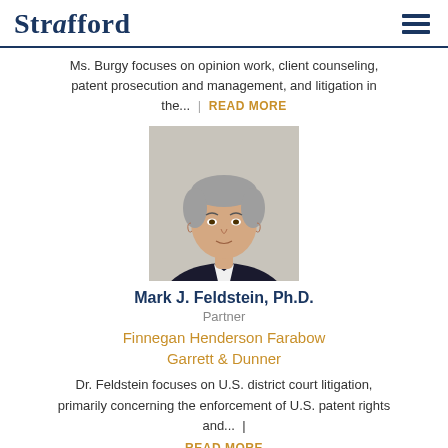Strafford
Ms. Burgy focuses on opinion work, client counseling, patent prosecution and management, and litigation in the... | READ MORE
[Figure (photo): Headshot of Mark J. Feldstein, Ph.D. — a middle-aged man with gray hair wearing a dark suit and white shirt, against a light background.]
Mark J. Feldstein, Ph.D.
Partner
Finnegan Henderson Farabow Garrett & Dunner
Dr. Feldstein focuses on U.S. district court litigation, primarily concerning the enforcement of U.S. patent rights and... | READ MORE